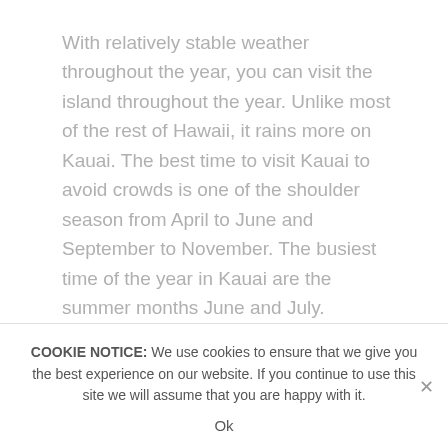With relatively stable weather throughout the year, you can visit the island throughout the year. Unlike most of the rest of Hawaii, it rains more on Kauai. The best time to visit Kauai to avoid crowds is one of the shoulder season from April to June and September to November. The busiest time of the year in Kauai are the summer months June and July. Tourism starts to drop off in autumn before the holiday season makes the island a bit more crowded towards the end of the year. March is also a relatively busy month on all of Hawaii's islands including Kauai.
COOKIE NOTICE: We use cookies to ensure that we give you the best experience on our website. If you continue to use this site we will assume that you are happy with it.
Ok